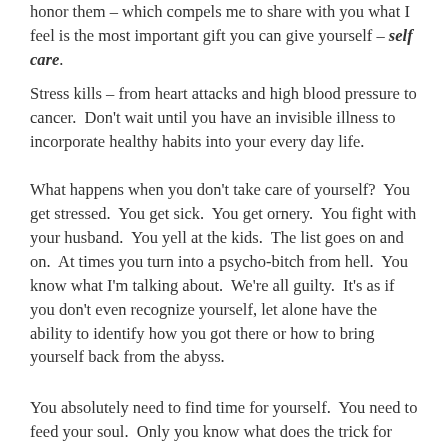honor them – which compels me to share with you what I feel is the most important gift you can give yourself – self care.
Stress kills – from heart attacks and high blood pressure to cancer.  Don't wait until you have an invisible illness to incorporate healthy habits into your every day life.
What happens when you don't take care of yourself?  You get stressed.  You get sick.  You get ornery.  You fight with your husband.  You yell at the kids.  The list goes on and on.  At times you turn into a psycho-bitch from hell.  You know what I'm talking about.  We're all guilty.  It's as if you don't even recognize yourself, let alone have the ability to identify how you got there or how to bring yourself back from the abyss.
You absolutely need to find time for yourself.  You need to feed your soul.  Only you know what does the trick for you.  I